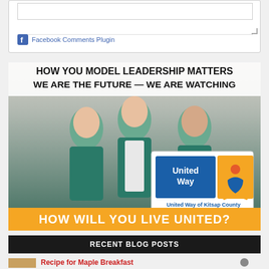[Figure (screenshot): Facebook Comments Plugin area with text input box and Facebook logo link]
Facebook Comments Plugin
[Figure (illustration): United Way of Kitsap County advertisement showing three teenage girls in teal United Way 'Day of Caring' t-shirts. Text at top: 'HOW YOU MODEL LEADERSHIP MATTERS WE ARE THE FUTURE — WE ARE WATCHING'. United Way logo and 'United Way of Kitsap County' text overlay. Bottom banner: 'HOW WILL YOU LIVE UNITED?']
RECENT BLOG POSTS
Recipe for Maple Breakfast Pudding